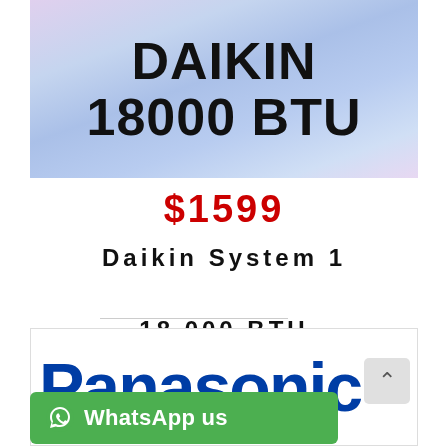[Figure (photo): Sky/clouds background banner with bold black text 'DAIKIN 18000 BTU' centered]
DAIKIN
18000 BTU
$1599
Daikin System 1
18,000 BTU
RKS50GVMG /
FTKS50GVMG
[Figure (logo): Panasonic logo visible partially at bottom]
WhatsApp us